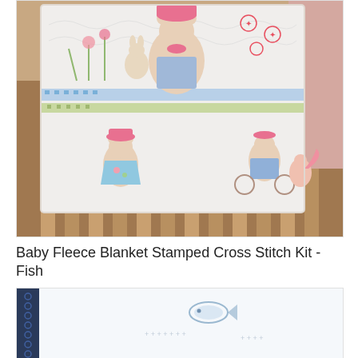[Figure (photo): A white baby quilt draped over a wooden crib. The quilt is stamped with cross-stitch designs of cartoon bear/mouse characters dressed in colorful clothes, flowers, butterflies, and a checkered border band across the middle.]
Baby Fleece Blanket Stamped Cross Stitch Kit - Fish
[Figure (photo): Partial view of a light blue/white baby fleece blanket with a fish cross stitch design visible. A dark navy item is visible on the left edge.]